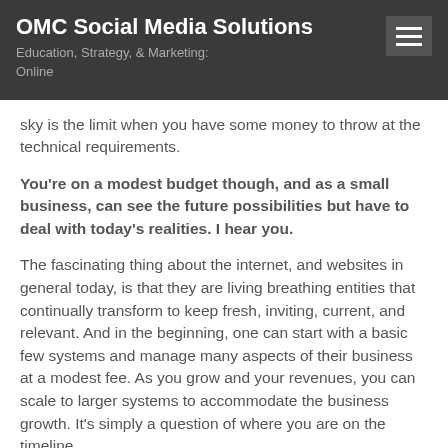OMC Social Media Solutions
Education, Strategy, & Marketing: Online
sky is the limit when you have some money to throw at the technical requirements.
You're on a modest budget though, and as a small business, can see the future possibilities but have to deal with today's realities. I hear you.
The fascinating thing about the internet, and websites in general today, is that they are living breathing entities that continually transform to keep fresh, inviting, current, and relevant. And in the beginning, one can start with a basic few systems and manage many aspects of their business at a modest fee. As you grow and your revenues, you can scale to larger systems to accommodate the business growth. It's simply a question of where you are on the timeline.